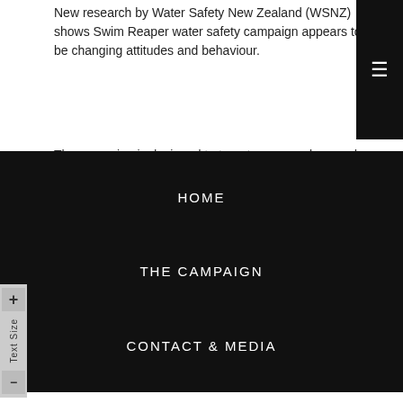New research by Water Safety New Zealand (WSNZ) shows Swim Reaper water safety campaign appears to be changing attitudes and behaviour.
HOME
THE CAMPAIGN
CONTACT & MEDIA
water.
WSNZ's third annual public attitudes and behaviour survey shows a significant decrease in people getting into trouble in the water due to alcohol, showing off or peer group pressure.
|  | 2016 | 2017 |
| --- | --- | --- |
| Showing off | 10% | 14% |